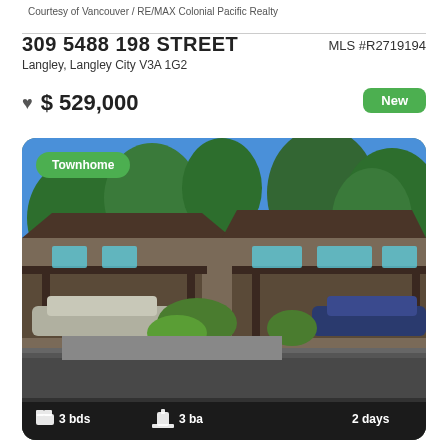Courtesy of Vancouver / RE/MAX Colonial Pacific Realty
309 5488 198 STREET
Langley, Langley City V3A 1G2
MLS #R2719194
$ 529,000
New
[Figure (photo): Exterior photo of a townhome complex with brown roofing, carports with vehicles, trees and greenery, bright blue sky. Green 'Townhome' badge overlay top-left. Footer shows 3 bds, 3 ba, 2 days.]